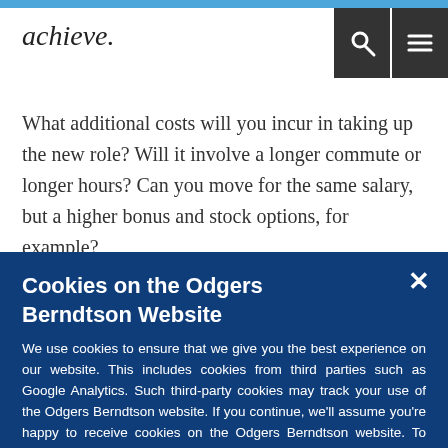achieve.
What additional costs will you incur in taking up the new role? Will it involve a longer commute or longer hours? Can you move for the same salary, but a higher bonus and stock options, for example?
Cookies on the Odgers Berndtson Website
We use cookies to ensure that we give you the best experience on our website. This includes cookies from third parties such as Google Analytics. Such third-party cookies may track your use of the Odgers Berndtson website. If you continue, we'll assume you're happy to receive cookies on the Odgers Berndtson website. To learn more about the use of cookies on our website or to opt out from them, please visit our Privacy Policy